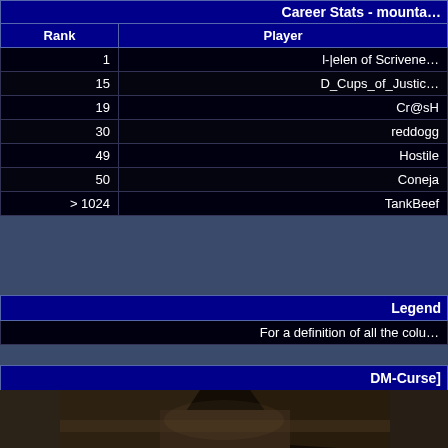| Rank | Player |
| --- | --- |
| 1 | l-|elen of Scrivene… |
| 15 | D_Cups_of_Justic… |
| 19 | Cr@sH |
| 30 | reddogg |
| 49 | Hostile |
| 50 | Coneja |
| > 1024 | TankBeef |
| Legend |
| --- |
| For a definition of all the colu… |
DM-Curse]
[Figure (screenshot): In-game screenshot of DM-Curse map showing wooden/stone structures in a dark environment]